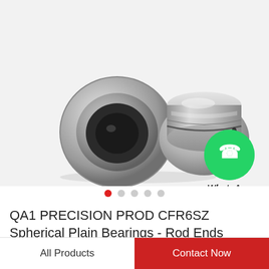[Figure (photo): Two stainless steel spherical plain bearings on a white background, one facing front (showing inner bore) and one tilted sideways. A WhatsApp Online green icon with phone receiver is overlaid at the bottom right of the image with text 'WhatsApp Online'.]
WhatsApp Online
QA1 PRECISION PROD CFR6SZ Spherical Plain Bearings - Rod Ends
All Products
Contact Now